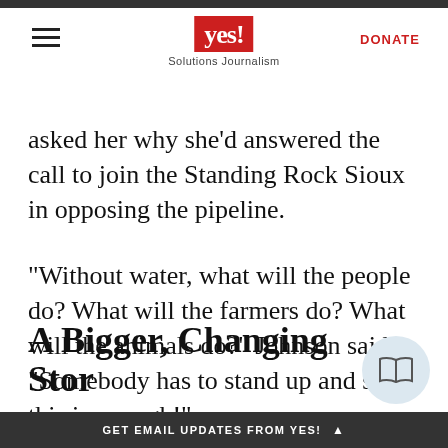YES! Solutions Journalism | DONATE
asked her why she’d answered the call to join the Standing Rock Sioux in opposing the pipeline.
“Without water, what will the people do? What will the farmers do? What will the animals do?” Johnson said. “Somebody has to stand up and say this is enough!”
A Bigger, Changing Stor
GET EMAIL UPDATES FROM YES!